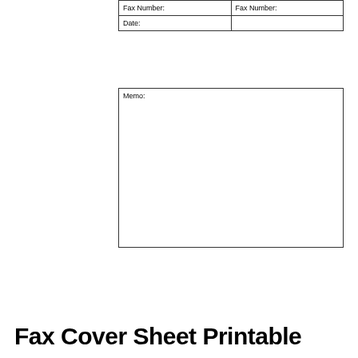| Fax Number: | Fax Number: |
| Date: |  |
| Memo: |  |
Fax Cover Sheet Printable